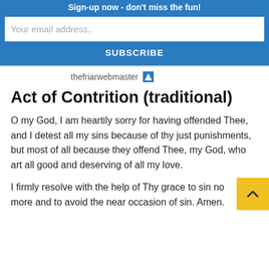Sign-up now - don't miss the fun!
Your email address..
SUBSCRIBE
thefriarwebmaster
Act of Contrition (traditional)
O my God, I am heartily sorry for having offended Thee, and I detest all my sins because of thy just punishments, but most of all because they offend Thee, my God, who art all good and deserving of all my love.
I firmly resolve with the help of Thy grace to sin no more and to avoid the near occasion of sin. Amen.